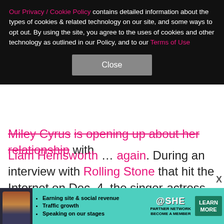Our Privacy / Cookie Policy contains detailed information about the types of cookies & related technology on our site, and some ways to opt out. By using the site, you agree to the uses of cookies and other technology as outlined in our Policy, and to our Terms of Use
Close
Miley Cyrus is opening up about her relationship with Liam Hemsworth … again. During an interview with Rolling Stone that hit the Internet on Dec. 4, the singer-actress said of tying the knot in late 2018, "I was playing house, which felt really good at the time. Now I have this healthy perspective that I didn't have before. I learned a lot about what I can and cannot be for someone else and what I can and cannot accept for myself. A couple of years ago, it looked like I was living some fairy tale. It really wasn't." She added of saying...
[Figure (infographic): Advertisement banner for SHE Partner Network with woman photo, bullet points: Earning site & social revenue, Traffic growth, Speaking on our stages. SHE PARTNER NETWORK BECOME A MEMBER. LEARN MORE button.]